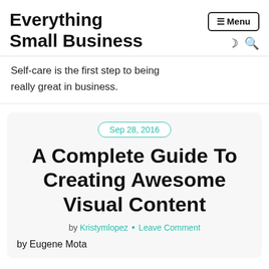Everything Small Business
Self-care is the first step to being really great in business.
Sep 28, 2016
A Complete Guide To Creating Awesome Visual Content
by Kristymlopez • Leave Comment
by Eugene Mota